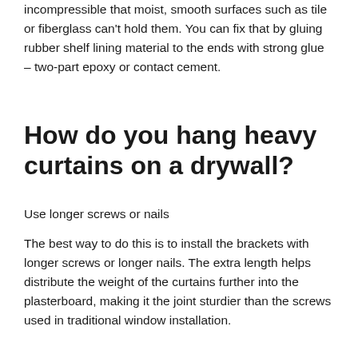incompressible that moist, smooth surfaces such as tile or fiberglass can't hold them. You can fix that by gluing rubber shelf lining material to the ends with strong glue – two-part epoxy or contact cement.
How do you hang heavy curtains on a drywall?
Use longer screws or nails
The best way to do this is to install the brackets with longer screws or longer nails. The extra length helps distribute the weight of the curtains further into the plasterboard, making it the joint sturdier than the screws used in traditional window installation.